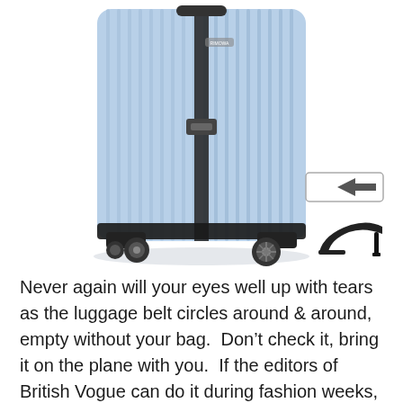[Figure (photo): A light blue Rimowa hard-shell spinner suitcase shown from the front on a white background, with a small back-arrow icon (luggage tag style) and a high-heel shoe icon in the lower right area of the image.]
Never again will your eyes well up with tears as the luggage belt circles around & around, empty without your bag.  Don't check it, bring it on the plane with you.  If the editors of British Vogue can do it during fashion weeks, then so too can we!  Rimowa offers colorful, hard case